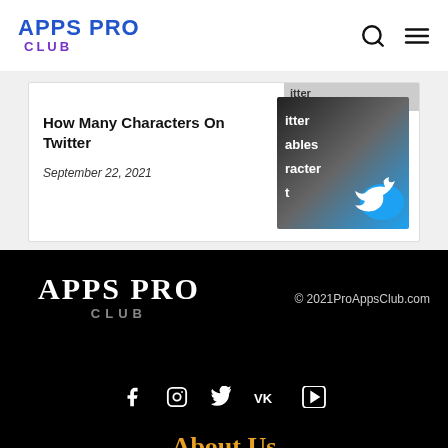APPS PRO CLUB
How Many Characters On Twitter
September 22, 2021
[Figure (screenshot): Twitter-related image with bird logo and text about characters]
APPS PRO CLUB © 2021ProAppsClub.com
About Us